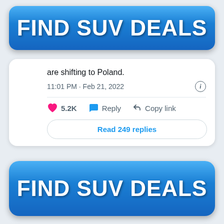[Figure (other): Blue button/banner with white bold text reading 'FIND SUV DEALS' at the top of the page]
are shifting to Poland.
11:01 PM · Feb 21, 2022
5.2K    Reply    Copy link
Read 249 replies
[Figure (other): Blue button/banner with white bold text reading 'FIND SUV DEALS' at the bottom of the page]